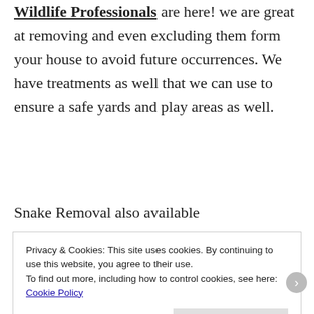Wildlife Professionals are here! we are great at removing and even excluding them form your house to avoid future occurrences. We have treatments as well that we can use to ensure a safe yards and play areas as well.
Snake Removal also available
Privacy & Cookies: This site uses cookies. By continuing to use this website, you agree to their use. To find out more, including how to control cookies, see here: Cookie Policy